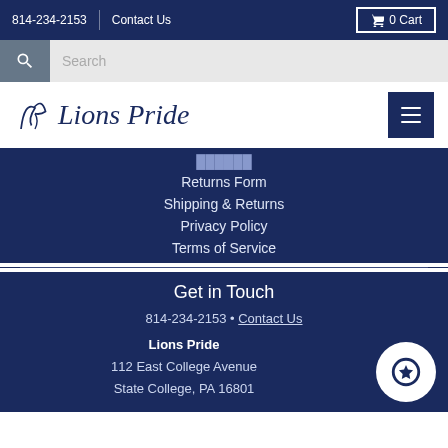814-234-2153 | Contact Us | 0 Cart
Search
[Figure (logo): Lions Pride script logo with decorative icon]
Returns Form
Shipping & Returns
Privacy Policy
Terms of Service
Get in Touch
814-234-2153 • Contact Us
Lions Pride
112 East College Avenue
State College, PA 16801